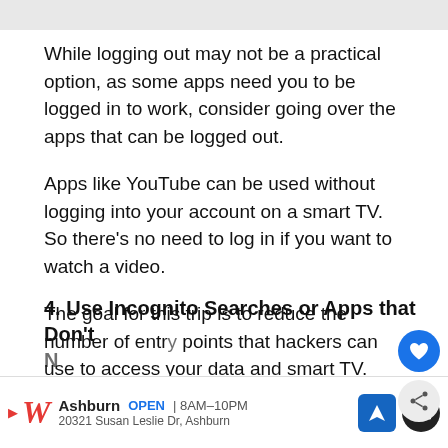While logging out may not be a practical option, as some apps need you to be logged in to work, consider going over the apps that can be logged out.
Apps like YouTube can be used without logging into your account on a smart TV. So there’s no need to log in if you want to watch a video.
The goal for this trip is to reduce the number of entry points that hackers can use to access your data and smart TV.
4. Use Incognito Searches or Apps that Don’t N…
Ashburn OPEN | 8AM–10PM 20321 Susan Leslie Dr, Ashburn